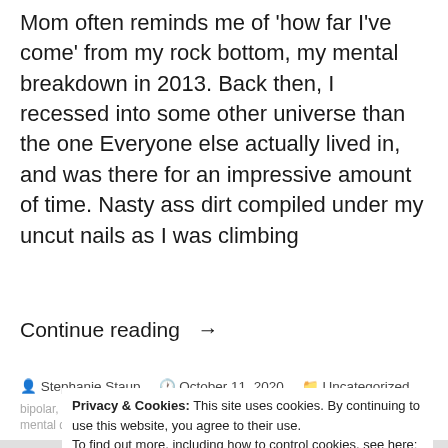Mom often reminds me of 'how far I've come' from my rock bottom, my mental breakdown in 2013. Back then, I recessed into some other universe than the one Everyone else actually lived in, and was there for an impressive amount of time. Nasty ass dirt compiled under my uncut nails as I was climbing
Continue reading →
Stephanie Staup   October 11, 2020   Uncategorized
bipolar, bipolar disorder, creative writing, disability, family, healing, ill, love, mental disorder, mental illness, progress, stigma, understanding
Privacy & Cookies: This site uses cookies. By continuing to use this website, you agree to their use.
To find out more, including how to control cookies, see here:
Cookie Policy
Close and accept